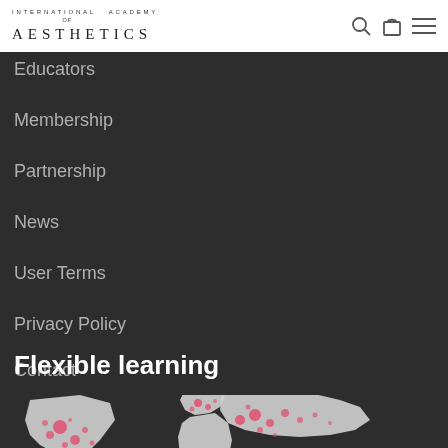INTERNATIONAL ACADEMY of AESTHETICS
Educators
Membership
Partnership
News
User Terms
Privacy Policy
Contact
Flexible learning
[Figure (map): World map with pink/red dot clusters indicating student locations globally, white landmasses on dark background]